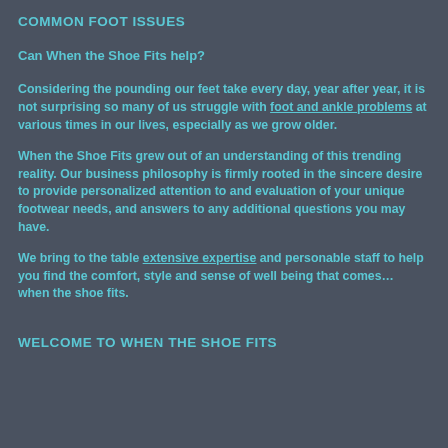COMMON FOOT ISSUES
Can When the Shoe Fits help?
Considering the pounding our feet take every day, year after year, it is not surprising so many of us struggle with foot and ankle problems at various times in our lives, especially as we grow older.
When the Shoe Fits grew out of an understanding of this trending reality. Our business philosophy is firmly rooted in the sincere desire to provide personalized attention to and evaluation of your unique footwear needs, and answers to any additional questions you may have.
We bring to the table extensive expertise and personable staff to help you find the comfort, style and sense of well being that comes…  when the shoe fits.
WELCOME TO WHEN THE SHOE FITS